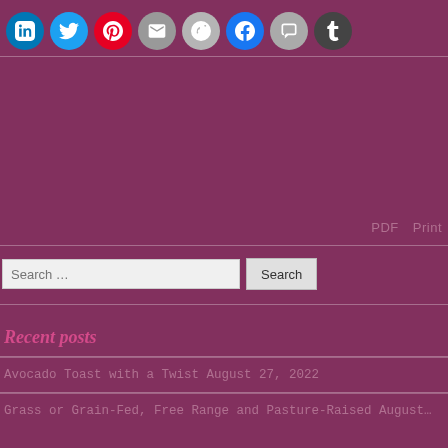[Figure (other): Social media share icons: LinkedIn, Twitter, Pinterest, Email, Reddit, Facebook, Print, Tumblr]
PDF   Print
Search …
Recent posts
Avocado Toast with a Twist August 27, 2022
Grass or Grain-Fed, Free Range and Pasture-Raised August…